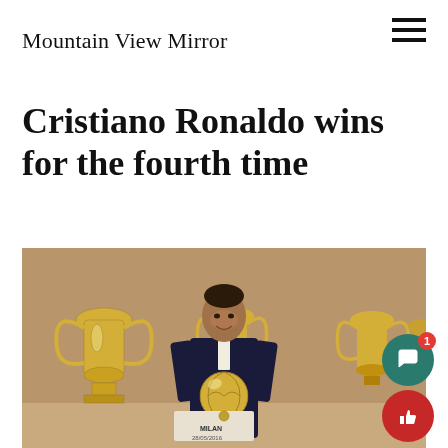Mountain View Mirror
Cristiano Ronaldo wins for the fourth time
[Figure (photo): Cristiano Ronaldo in a dark suit holding a golden Ballon d'Or trophy, surrounded by large silver Champions League trophies in the background. A placard reads MILAN 28/05/2016.]